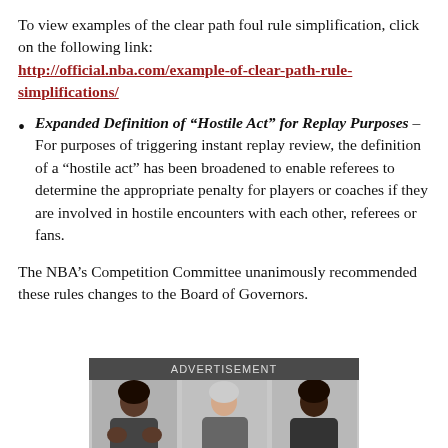To view examples of the clear path foul rule simplification, click on the following link: http://official.nba.com/example-of-clear-path-rule-simplifications/
Expanded Definition of “Hostile Act” for Replay Purposes – For purposes of triggering instant replay review, the definition of a “hostile act” has been broadened to enable referees to determine the appropriate penalty for players or coaches if they are involved in hostile encounters with each other, referees or fans.
The NBA’s Competition Committee unanimously recommended these rules changes to the Board of Governors.
[Figure (photo): Advertisement banner with three people smiling, shown in a gray-background photo strip beneath a dark gray header labeled ADVERTISEMENT.]